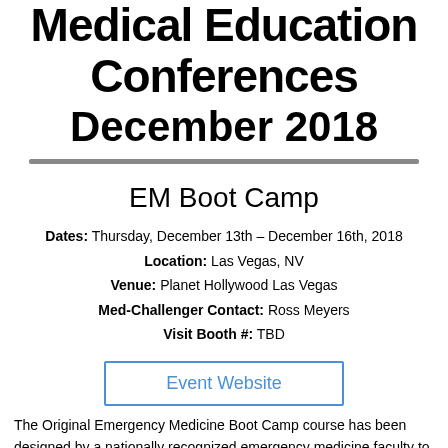Medical Education Conferences December 2018
EM Boot Camp
Dates: Thursday, December 13th – December 16th, 2018
Location: Las Vegas, NV
Venue: Planet Hollywood Las Vegas
Med-Challenger Contact: Ross Meyers
Visit Booth #: TBD
Event Website
The Original Emergency Medicine Boot Camp course has been designed by a nationally recognized emergency medicine faculty to provide participants with the essential information needed to